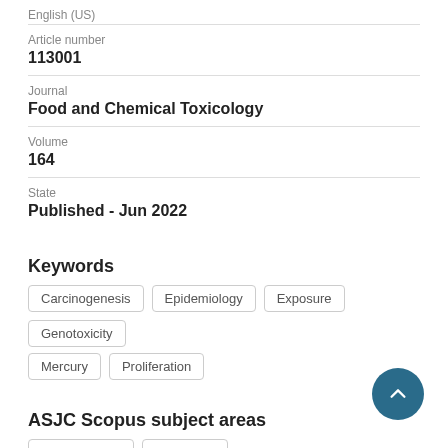English (US)
Article number
113001
Journal
Food and Chemical Toxicology
Volume
164
State
Published - Jun 2022
Keywords
Carcinogenesis
Epidemiology
Exposure
Genotoxicity
Mercury
Proliferation
ASJC Scopus subject areas
Food Science
Toxicology